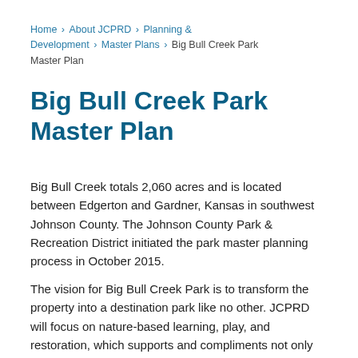Home › About JCPRD › Planning & Development › Master Plans › Big Bull Creek Park Master Plan
Big Bull Creek Park Master Plan
Big Bull Creek totals 2,060 acres and is located between Edgerton and Gardner, Kansas in southwest Johnson County. The Johnson County Park & Recreation District initiated the park master planning process in October 2015.
The vision for Big Bull Creek Park is to transform the property into a destination park like no other. JCPRD will focus on nature-based learning, play, and restoration, which supports and compliments not only the immediate neighboring communities